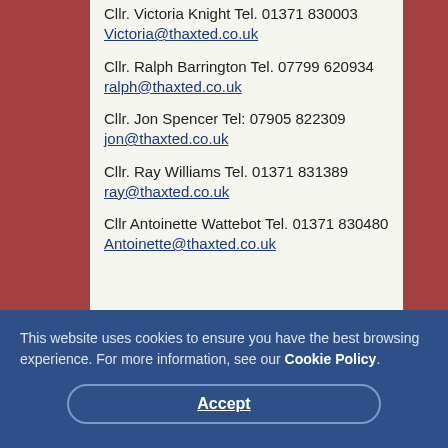Cllr. Victoria Knight Tel. 01371 830003 Victoria@thaxted.co.uk
Cllr. Ralph Barrington Tel. 07799 620934 ralph@thaxted.co.uk
Cllr. Jon Spencer Tel: 07905 822309 jon@thaxted.co.uk
Cllr. Ray Williams Tel. 01371 831389 ray@thaxted.co.uk
Cllr Antoinette Wattebot Tel. 01371 830480 Antoinette@thaxted.co.uk
This website uses cookies to ensure you have the best browsing experience. For more information, see our Cookie Policy.
Accept